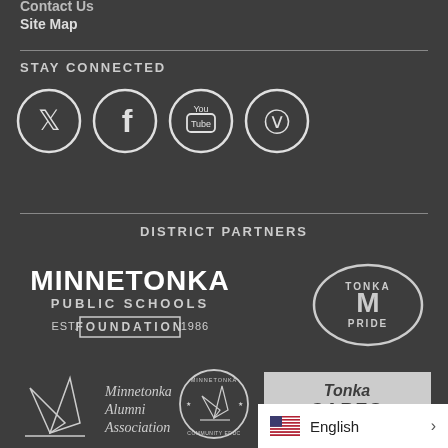Contact Us
Site Map
STAY CONNECTED
[Figure (infographic): Four social media icons in dark circles: Twitter, Facebook, YouTube, Vimeo]
DISTRICT PARTNERS
[Figure (logo): Minnetonka Public Schools Foundation EST. 1986 logo]
[Figure (logo): Tonka Pride logo - oval with M letter]
[Figure (logo): Minnetonka Alumni Association logo with sailboat]
[Figure (logo): Minnetonka Community Education circular logo with sailboat]
[Figure (logo): Tonka CARES logo]
English